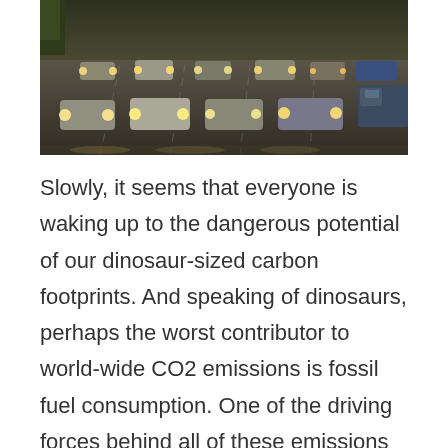[Figure (photo): Aerial/overhead view of a busy multi-lane highway with cars and a truck in traffic, taken in dim/rainy conditions with headlights visible.]
Slowly, it seems that everyone is waking up to the dangerous potential of our dinosaur-sized carbon footprints. And speaking of dinosaurs, perhaps the worst contributor to world-wide CO2 emissions is fossil fuel consumption. One of the driving forces behind all of these emissions is, well, driving. Between personal travel, commercial transport and construction and maintenance, our roadways are one of major reasons for our carbon emissions problem. According to the Carbon Dioxide Information Analysis Center (CDIAC) the US alone